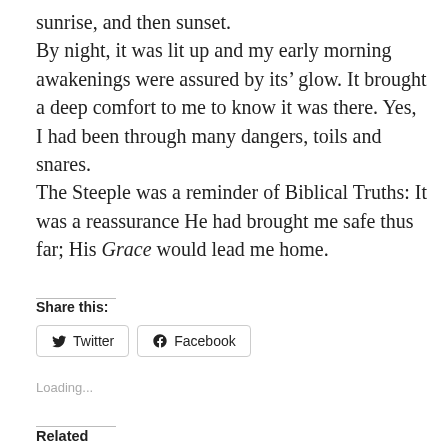sunrise, and then sunset.
By night, it was lit up and my early morning awakenings were assured by its’ glow. It brought a deep comfort to me to know it was there. Yes, I had been through many dangers, toils and snares.
The Steeple was a reminder of Biblical Truths: It was a reassurance He had brought me safe thus far; His Grace would lead me home.
Share this:
Twitter  Facebook
Loading...
Related